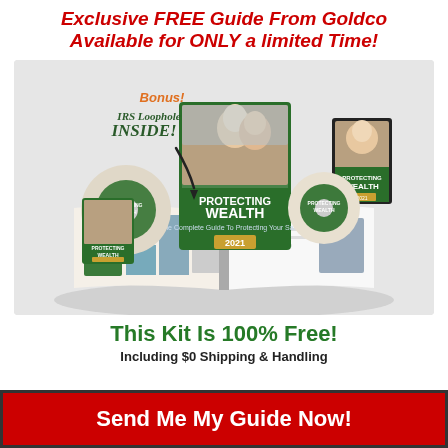Exclusive FREE Guide From Goldco
Available for ONLY a limited Time!
[Figure (illustration): Product kit image showing 'Protecting Wealth 2021' guide, DVDs, and open book/magazine, with orange text 'Bonus! IRS Loophole INSIDE!' and an arrow, on a light gray background.]
This Kit Is 100% Free!
Including $0 Shipping & Handling
Send Me My Guide Now!